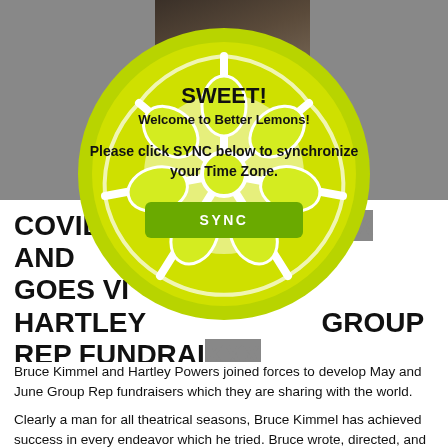[Figure (screenshot): Partially visible article page with gray background and white article content area]
[Figure (illustration): Lemon slice graphic used as a modal overlay popup with SYNC button]
COVID-... AND GOES VI... HARTLEY ... GROUP REP FUNDRAI...
Bruce Kimmel and Hartley Powers joined forces to develop May and June Group Rep fundraisers which they are sharing with the world.
Clearly a man for all theatrical seasons, Bruce Kimmel has achieved success in every endeavor which he tried. Bruce wrote, directed, and